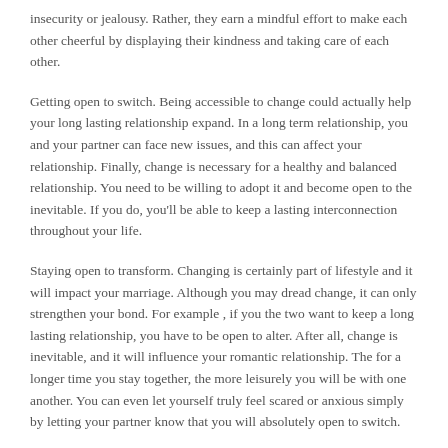insecurity or jealousy. Rather, they earn a mindful effort to make each other cheerful by displaying their kindness and taking care of each other.
Getting open to switch. Being accessible to change could actually help your long lasting relationship expand. In a long term relationship, you and your partner can face new issues, and this can affect your relationship. Finally, change is necessary for a healthy and balanced relationship. You need to be willing to adopt it and become open to the inevitable. If you do, you'll be able to keep a lasting interconnection throughout your life.
Staying open to transform. Changing is certainly part of lifestyle and it will impact your marriage. Although you may dread change, it can only strengthen your bond. For example , if you the two want to keep a long lasting relationship, you have to be open to alter. After all, change is inevitable, and it will influence your romantic relationship. The for a longer time you stay together, the more leisurely you will be with one another. You can even let yourself truly feel scared or anxious simply by letting your partner know that you will absolutely open to switch.